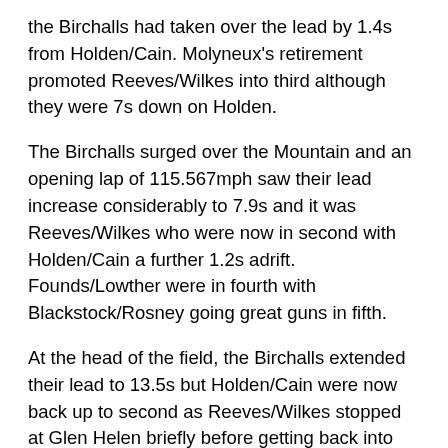the Birchalls had taken over the lead by 1.4s from Holden/Cain. Molyneux's retirement promoted Reeves/Wilkes into third although they were 7s down on Holden.
The Birchalls surged over the Mountain and an opening lap of 115.567mph saw their lead increase considerably to 7.9s and it was Reeves/Wilkes who were now in second with Holden/Cain a further 1.2s adrift. Founds/Lowther were in fourth with Blackstock/Rosney going great guns in fifth.
At the head of the field, the Birchalls extended their lead to 13.5s but Holden/Cain were now back up to second as Reeves/Wilkes stopped at Glen Helen briefly before getting back into the race. Founds/Lowther were also in trouble and they retired at Quarter Bridge, which saw Blackstock/Rosney move up to fourth.
By Ramsey second time around, the Birchalls had added